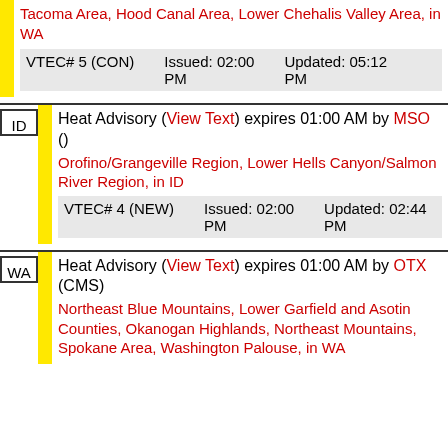Tacoma Area, Hood Canal Area, Lower Chehalis Valley Area, in WA
| VTEC# | Issued | Updated |
| --- | --- | --- |
| VTEC# 5 (CON) | Issued: 02:00 PM | Updated: 05:12 PM |
Heat Advisory (View Text) expires 01:00 AM by MSO () Orofino/Grangeville Region, Lower Hells Canyon/Salmon River Region, in ID
| VTEC# | Issued | Updated |
| --- | --- | --- |
| VTEC# 4 (NEW) | Issued: 02:00 PM | Updated: 02:44 PM |
Heat Advisory (View Text) expires 01:00 AM by OTX (CMS) Northeast Blue Mountains, Lower Garfield and Asotin Counties, Okanogan Highlands, Northeast Mountains, Spokane Area, Washington Palouse, in WA